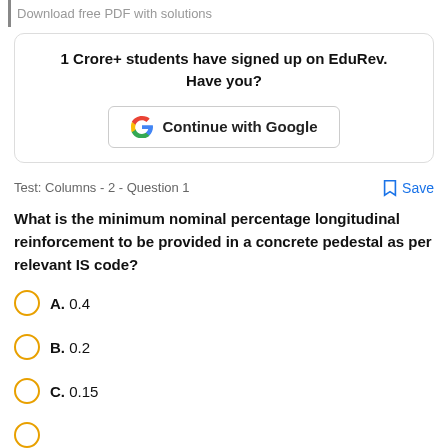Download free PDF with solutions
1 Crore+ students have signed up on EduRev. Have you?
Continue with Google
Test: Columns - 2 - Question 1
Save
What is the minimum nominal percentage longitudinal reinforcement to be provided in a concrete pedestal as per relevant IS code?
A. 0.4
B. 0.2
C. 0.15